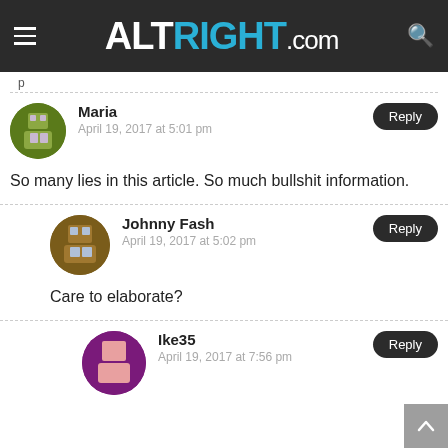ALTRIGHT.COM
p
Maria
April 19, 2017 at 5:01 pm
So many lies in this article. So much bullshit information.
Johnny Fash
April 19, 2017 at 5:02 pm
Care to elaborate?
Ike35
April 19, 2017 at 7:56 pm